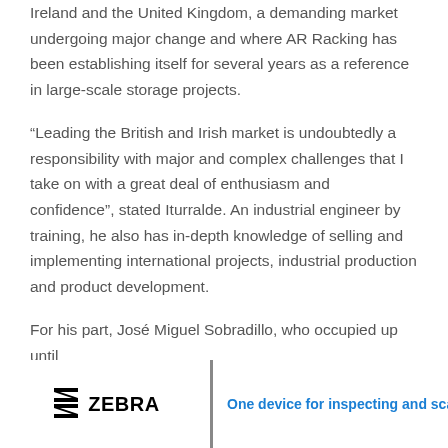Ireland and the United Kingdom, a demanding market undergoing major change and where AR Racking has been establishing itself for several years as a reference in large-scale storage projects.
“Leading the British and Irish market is undoubtedly a responsibility with major and complex challenges that I take on with a great deal of enthusiasm and confidence”, stated Iturralde. An industrial engineer by training, he also has in-depth knowledge of selling and implementing international projects, industrial production and product development.
For his part, José Miguel Sobradillo, who occupied up until
[Figure (logo): Zebra Technologies logo with tagline: One device for inspecting and scanning]